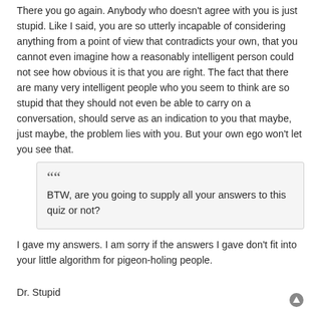There you go again. Anybody who doesn't agree with you is just stupid. Like I said, you are so utterly incapable of considering anything from a point of view that contradicts your own, that you cannot even imagine how a reasonably intelligent person could not see how obvious it is that you are right. The fact that there are many very intelligent people who you seem to think are so stupid that they should not even be able to carry on a conversation, should serve as an indication to you that maybe, just maybe, the problem lies with you. But your own ego won't let you see that.
BTW, are you going to supply all your answers to this quiz or not?
I gave my answers. I am sorry if the answers I gave don't fit into your little algorithm for pigeon-holing people.
Dr. Stupid